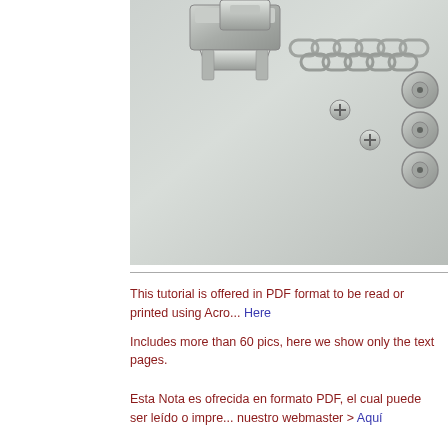[Figure (photo): Close-up photo of a metallic sewing machine presser foot mechanism with feed dogs and screws on a light gray/blue surface]
This tutorial is offered in PDF format to be read or printed using Acro... Here
Includes more than 60 pics, here we show only the text pages.
Esta Nota es ofrecida en formato PDF, el cual puede ser leído o impre... nuestro webmaster > Aquí